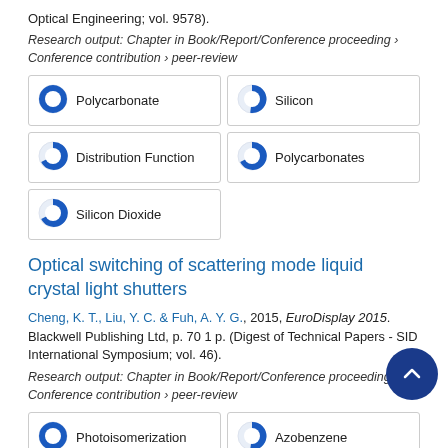Optical Engineering; vol. 9578).
Research output: Chapter in Book/Report/Conference proceeding › Conference contribution › peer-review
[Figure (infographic): Keyword badges with pie chart icons: Polycarbonate 100%, Silicon ~90%, Distribution Function ~70%, Polycarbonates ~70%, Silicon Dioxide ~70%]
Optical switching of scattering mode liquid crystal light shutters
Cheng, K. T., Liu, Y. C. & Fuh, A. Y. G., 2015, EuroDisplay 2015. Blackwell Publishing Ltd, p. 70 1 p. (Digest of Technical Papers - SID International Symposium; vol. 46).
Research output: Chapter in Book/Report/Conference proceeding › Conference contribution › peer-review
[Figure (infographic): Keyword badges with pie chart icons: Photoisomerization 100%, Azobenzene ~90%, Isomers ~70%, Light Modulators ~70%]
Liquid Crystals (partial, cut off at bottom)